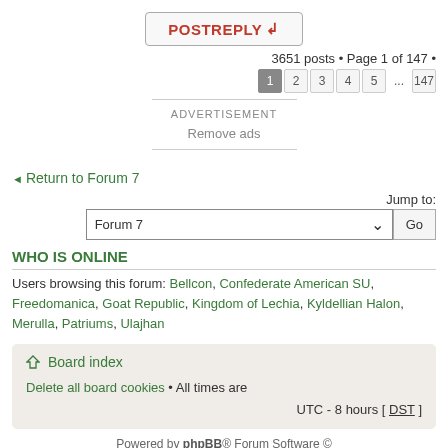[Figure (other): POST REPLY button (red text, bordered box)]
3651 posts • Page 1 of 147 • 1 2 3 4 5 ... 147
ADVERTISEMENT
Remove ads
◄ Return to Forum 7
Jump to:
Forum 7  ∨  Go
WHO IS ONLINE
Users browsing this forum: Bellcon, Confederate American SU, Freedomanica, Goat Republic, Kingdom of Lechia, Kyldellian Halon, Merulla, Patriums, Ulajhan
Board index
Delete all board cookies • All times are UTC - 8 hours [ DST ]
Powered by phpBB® Forum Software © phpBB Group